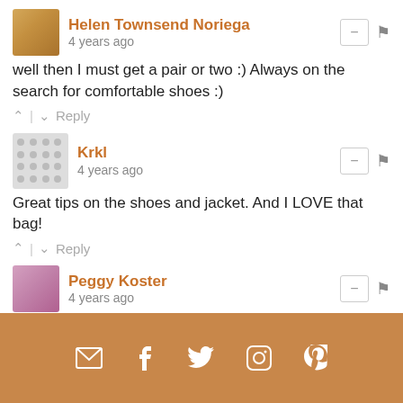Helen Townsend Noriega — 4 years ago
well then I must get a pair or two :) Always on the search for comfortable shoes :)
Krkl — 4 years ago
Great tips on the shoes and jacket. And I LOVE that bag!
Peggy Koster — 4 years ago
The mules look so comfortable! Love the bag too. :)